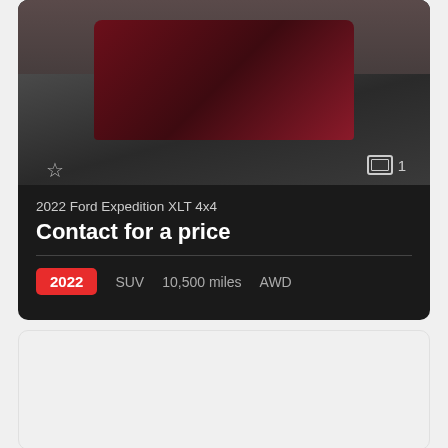[Figure (photo): Dark red/maroon 2022 Ford Expedition XLT 4x4 SUV driving on a highway road, front three-quarter view. Star/bookmark icon in bottom-left corner of image. Photo count badge showing '1' in bottom-right corner.]
2022 Ford Expedition XLT 4x4
Contact for a price
2022   SUV   10,500 miles   AWD